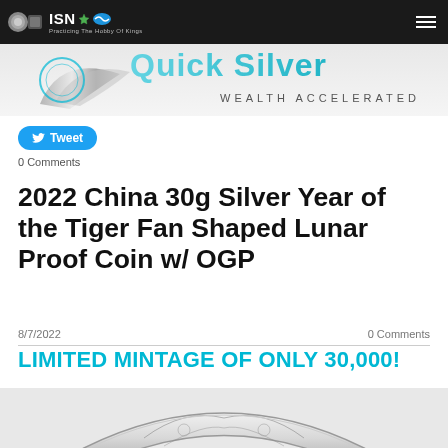ISN — Practicing The Hobby Of Kings
[Figure (illustration): Quick Silver Wealth Accelerated banner with metallic swoosh logo and cyan/teal text]
Tweet
0 Comments
2022 China 30g Silver Year of the Tiger Fan Shaped Lunar Proof Coin w/ OGP
8/7/2022
0 Comments
LIMITED MINTAGE OF ONLY 30,000!
[Figure (photo): Fan-shaped silver proof coin showing a tiger design, partially visible at bottom of page]